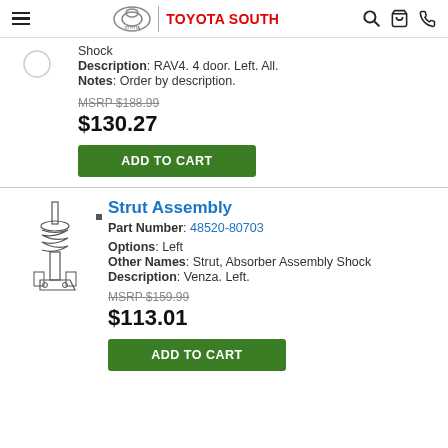Toyota South
Other Names: Strut, Absorber Assembly Shock
Description: RAV4. 4 door. Left. All.
Notes: Order by description.
MSRP $188.99
$130.27
ADD TO CART
Strut Assembly
Part Number: 48520-80703
Options: Left
Other Names: Strut, Absorber Assembly Shock
Description: Venza. Left.
MSRP $159.99
$113.01
ADD TO CART